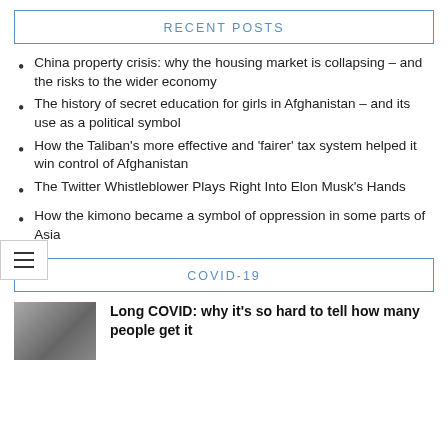RECENT POSTS
China property crisis: why the housing market is collapsing – and the risks to the wider economy
The history of secret education for girls in Afghanistan – and its use as a political symbol
How the Taliban's more effective and 'fairer' tax system helped it win control of Afghanistan
The Twitter Whistleblower Plays Right Into Elon Musk's Hands
How the kimono became a symbol of oppression in some parts of Asia
COVID-19
[Figure (photo): Photo thumbnail for Long COVID article]
Long COVID: why it's so hard to tell how many people get it